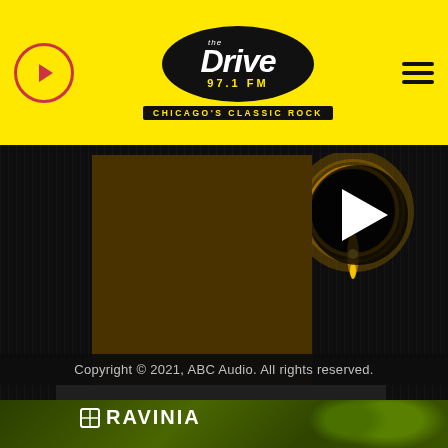The Drive 97.1 FM — Chicago's Classic Rock
[Figure (screenshot): YouTube video embed showing a solar eclipse image with a dark brown thumbnail block on left and glowing eclipse on right, with a large play button circle overlay. A 'Watch on YouTube' bar is shown below the thumbnail.]
Copyright © 2021, ABC Audio. All rights reserved.
[Figure (photo): Bottom portion of a Ravinia festival promotional image with green illustrated park scenery and the RAVINIA text logo visible.]